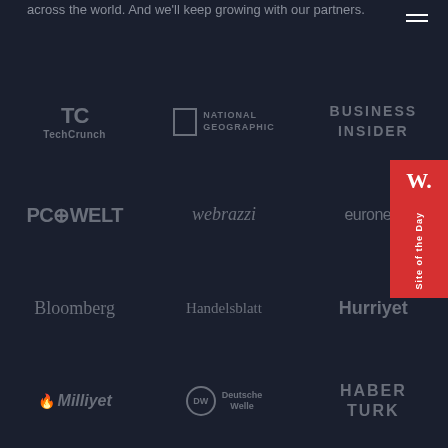across the world. And we'll keep growing with our partners.
[Figure (logo): TechCrunch logo]
[Figure (logo): National Geographic logo]
[Figure (logo): Business Insider logo]
[Figure (logo): PC-WELT logo]
[Figure (logo): webrazzi logo]
[Figure (logo): euronews logo]
[Figure (logo): Bloomberg logo]
[Figure (logo): Handelsblatt logo]
[Figure (logo): Hurriyet logo]
[Figure (logo): Milliyet logo]
[Figure (logo): Deutsche Welle logo]
[Figure (logo): Haber Turk logo]